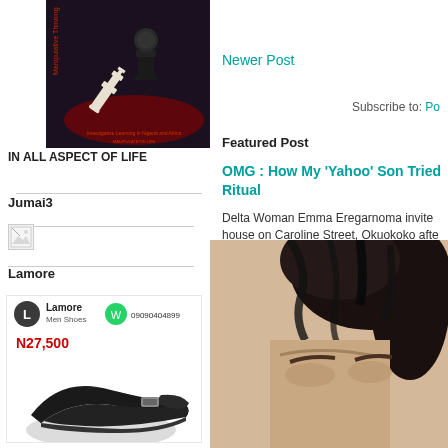[Figure (illustration): Book cover with dark background showing chess pieces - a black pawn standing over a fallen white king, with red title text]
IN ALL ASPECT OF LIFE
Jumai3
[Figure (illustration): Broken/missing image placeholder icon]
Lamore
[Figure (illustration): Lamore Men Shoes advertisement showing black dress shoes, price N27,500, with WhatsApp contact 09090404899]
Newer Post
Subscribe to: Po
Featured Post
OMG : How My ‘Yahoo’ Son Tried Ritual
Delta Woman Emma Eregarnoma  invite house on Caroline Street, Okuokoko afte
[Figure (photo): Close-up photo of a person's face partially visible, dark hair, skin visible on forehead/brow area]